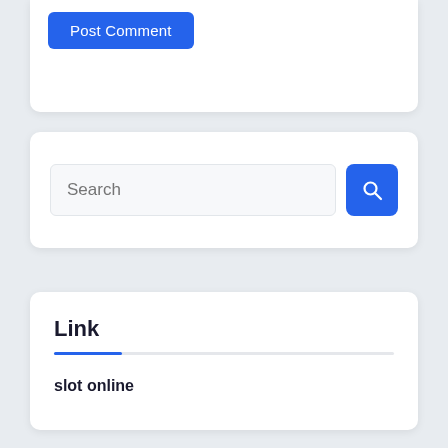[Figure (screenshot): Post Comment button — blue rounded rectangle with white text]
[Figure (screenshot): Search bar with text input field and blue search button with magnifying glass icon]
Link
slot online